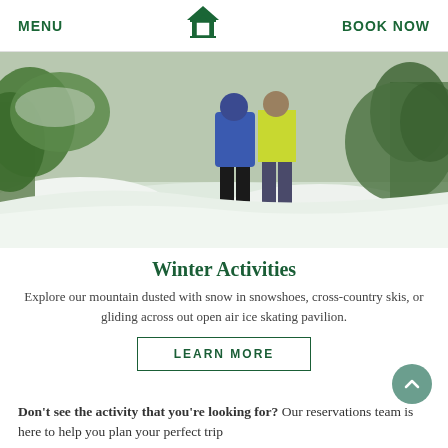MENU  [logo]  BOOK NOW
[Figure (photo): Two people snowshoeing on a snow-covered mountain trail through trees, one wearing a blue jacket and one wearing a yellow-green vest]
Winter Activities
Explore our mountain dusted with snow in snowshoes, cross-country skis, or gliding across out open air ice skating pavilion.
LEARN MORE
Don't see the activity that you're looking for? Our reservations team is here to help you plan your perfect trip